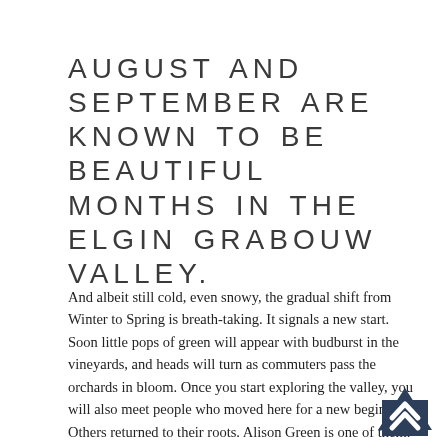AUGUST AND SEPTEMBER ARE KNOWN TO BE BEAUTIFUL MONTHS IN THE ELGIN GRABOUW VALLEY.
And albeit still cold, even snowy, the gradual shift from Winter to Spring is breath-taking. It signals a new start. Soon little pops of green will appear with budburst in the vineyards, and heads will turn as commuters pass the orchards in bloom. Once you start exploring the valley, you will also meet people who moved here for a new beginning. Others returned to their roots. Alison Green is one of them. Her dad was an apple farmer in the valley, and she grew up here. Pursuing a career as a civil engineer, to meeting Barry, her architect husband in Johannesburg, to living in California, her heart would yearn for the so-called Wildekranse; the natural, wild cliff that forms a backdrop for their family farm.